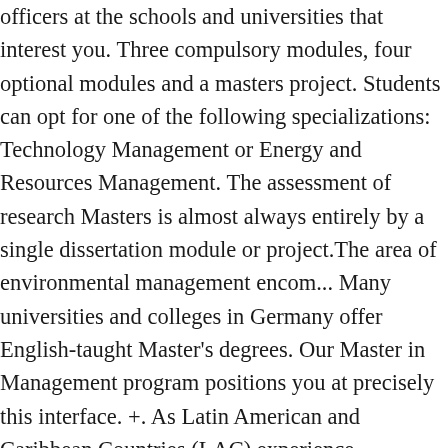officers at the schools and universities that interest you. Three compulsory modules, four optional modules and a masters project. Students can opt for one of the following specializations: Technology Management or Energy and Resources Management. The assessment of research Masters is almost always entirely by a single dissertation module or project.The area of environmental management encom... Many universities and colleges in Germany offer English-taught Master's degrees. Our Master in Management program positions you at precisely this interface. +. As Latin American and Caribbean Countries (LAC) experience economic development, concerns on environmental degradation and contamination continue to grow. A cooperation between University of Jordan and Cologne University of Applied Sciences. Germany, at universities and colleges famous for excellent education, not only The Energy and Environmental Management course is part of the International Institute of Management, which is located outside the campus, just a 5-minute walk from the city centre. These 10 master's degrees in environmental management vary (sometime...